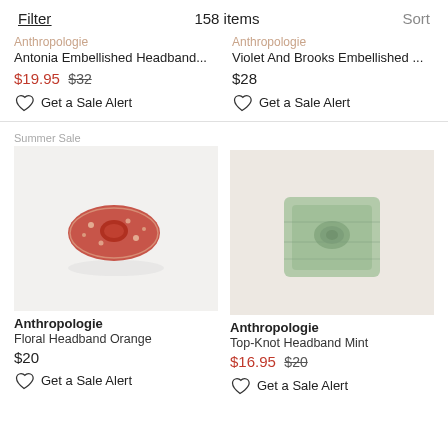Filter   158 items   Sort
Anthropologie
Antonia Embellished Headband...
$19.95 $32
Get a Sale Alert
Anthropologie
Violet And Brooks Embellished ...
$28
Get a Sale Alert
Summer Sale
[Figure (photo): Floral Headband Orange - red/orange floral patterned headband on white background]
Anthropologie
Floral Headband Orange
$20
Get a Sale Alert
[Figure (photo): Top-Knot Headband Mint - sage green knotted headband folded on beige background]
Anthropologie
Top-Knot Headband Mint
$16.95 $20
Get a Sale Alert